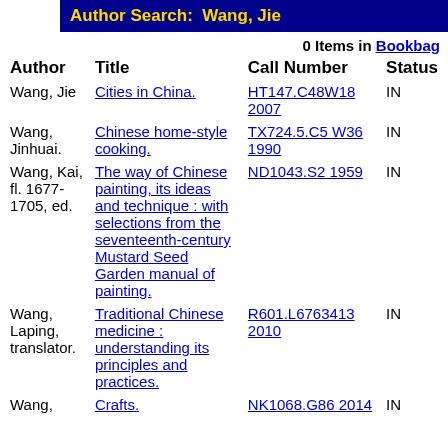Author Search:  Wang, Jie
0 Items in Bookbag
| Author | Title | Call Number | Status |
| --- | --- | --- | --- |
| Wang, Jie | Cities in China. | HT147.C48W18 2007 | IN |
| Wang, Jinhuai. | Chinese home-style cooking. | TX724.5.C5 W36 1990 | IN |
| Wang, Kai, fl. 1677-1705, ed. | The way of Chinese painting, its ideas and technique : with selections from the seventeenth-century Mustard Seed Garden manual of painting. | ND1043.S2 1959 | IN |
| Wang, Laping, translator. | Traditional Chinese medicine : understanding its principles and practices. | R601.L6763413 2010 | IN |
| Wang, | Crafts. | NK1068.G86 2014 | IN |